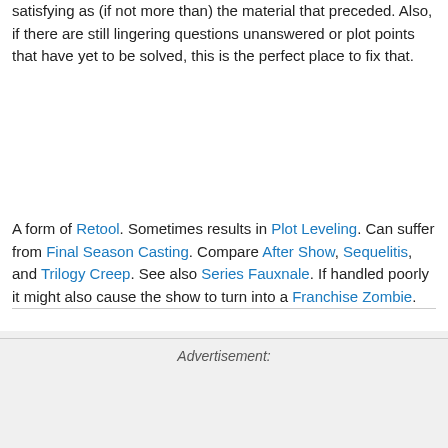satisfying as (if not more than) the material that preceded. Also, if there are still lingering questions unanswered or plot points that have yet to be solved, this is the perfect place to fix that.
A form of Retool. Sometimes results in Plot Leveling. Can suffer from Final Season Casting. Compare After Show, Sequelitis, and Trilogy Creep. See also Series Fauxnale. If handled poorly it might also cause the show to turn into a Franchise Zombie.
Advertisement: